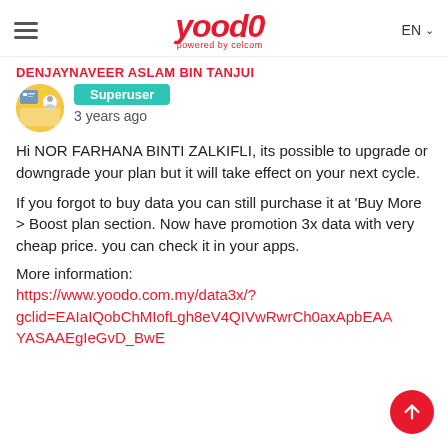Yoodo — powered by celcom | EN
DENJAYNAVEER ASLAM BIN TANJUI
Superuser
3 years ago
Hi NOR FARHANA BINTI ZALKIFLI, its possible to upgrade or downgrade your plan but it will take effect on your next cycle.
If you forgot to buy data you can still purchase it at 'Buy More > Boost plan section. Now have promotion 3x data with very cheap price. you can check it in your apps.
More information:
https://www.yoodo.com.my/data3x/?gclid=EAIaIQobChMIofLgh8eV4QIVwRwrCh0axApbEAAYASAAEgIeGvD_BwE